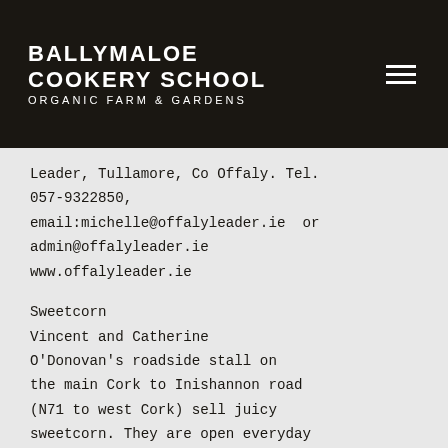BALLYMALOE COOKERY SCHOOL ORGANIC FARM & GARDENS
Leader, Tullamore, Co Offaly. Tel. 057-9322850, email:michelle@offalyleader.ie  or admin@offalyleader.ie www.offalyleader.ie
Sweetcorn
Vincent and Catherine O’Donovan’s roadside stall on the main Cork to Inishannon road (N71 to west Cork) sell juicy sweetcorn. They are open everyday